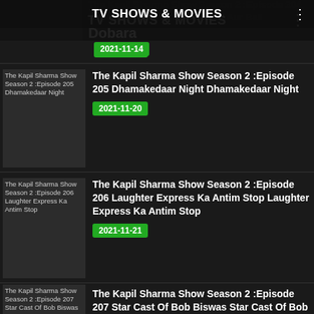TV SHOWS & MOVIES
[Figure (screenshot): Thumbnail for The Kapil Sharma Show Season 2 Episode 204 Bunty Aur Babli Dobara]
The Kapil Sharma Show Season 2 :Episode 204 Bunty Aur Babli Dobara Bunty Aur Babli Dobara
2021-11-14
[Figure (screenshot): Thumbnail for The Kapil Sharma Show Season 2 Episode 205 Dhamakedaar Night]
The Kapil Sharma Show Season 2 :Episode 205 Dhamakedaar Night Dhamakedaar Night
2021-11-20
[Figure (screenshot): Thumbnail for The Kapil Sharma Show Season 2 Episode 206 Laughter Express Ka Antim Stop]
The Kapil Sharma Show Season 2 :Episode 206 Laughter Express Ka Antim Stop Laughter Express Ka Antim Stop
2021-11-21
[Figure (screenshot): Thumbnail for The Kapil Sharma Show Season 2 Episode 207 Star Cast Of Bob Biswas]
The Kapil Sharma Show Season 2 :Episode 207 Star Cast Of Bob Biswas Star Cast Of Bob Biswas
2021-11-27
[Figure (screenshot): Thumbnail for The Kapil Sharma Show Season 2 Episode 208 Laugh Your Hearts Out With John And Divya]
The Kapil Sharma Show Season 2 :Episode 208 Laugh Your Hearts Out With John And Divya Laugh Your Hearts Out With John And